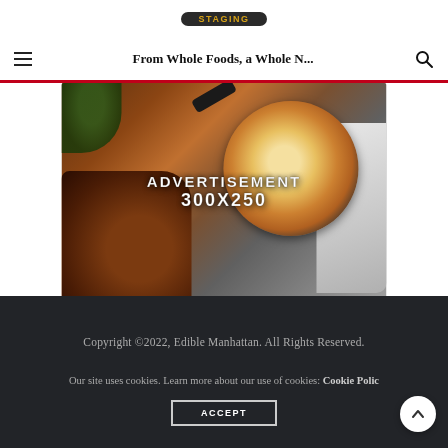STAGING
From Whole Foods, a Whole N...
[Figure (photo): Advertisement banner 300x250 showing food: a cast iron skillet with a frittata/pizza, fresh herbs, a cutting board, and a slice of grilled bread on a wooden surface. White overlay text reads 'ADVERTISEMENT 300X250'.]
Copyright ©2022, Edible Manhattan. All Rights Reserved.
Our site uses cookies. Learn more about our use of cookies: Cookie Policy
ACCEPT